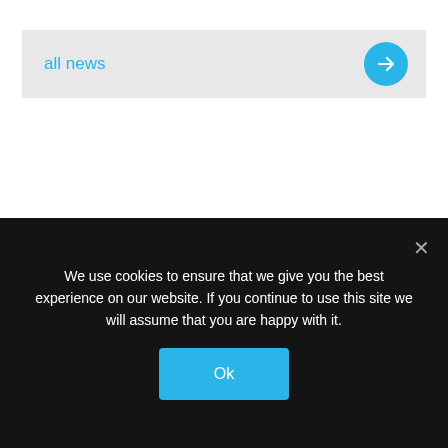all news
We use cookies to ensure that we give you the best experience on our website. If you continue to use this site we will assume that you are happy with it.
Ok